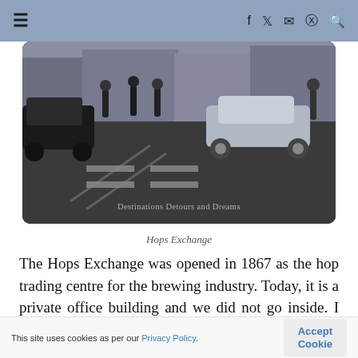≡  f  𝕏  ✉  ⊕  🔍
[Figure (photo): Street scene showing the Hops Exchange building exterior with cars and pedestrians on the road. Watermark text reads 'Destinations Detours and Dreams'.]
Hops Exchange
The Hops Exchange was opened in 1867 as the hop trading centre for the brewing industry. Today, it is a private office building and we did not go inside. I later learned there is a Good Beer Guide pub located
This site uses cookies as per our Privacy Policy.